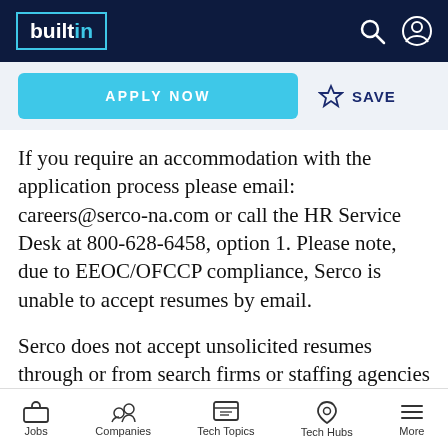builtin
APPLY NOW
SAVE
If you require an accommodation with the application process please email: careers@serco-na.com or call the HR Service Desk at 800-628-6458, option 1. Please note, due to EEOC/OFCCP compliance, Serco is unable to accept resumes by email.
Serco does not accept unsolicited resumes through or from search firms or staffing agencies without being a contracted
Jobs   Companies   Tech Topics   Tech Hubs   More